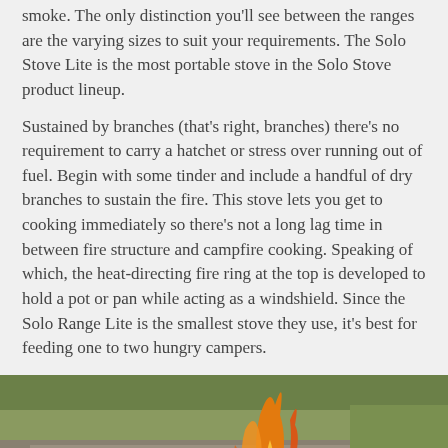smoke. The only distinction you'll see between the ranges are the varying sizes to suit your requirements. The Solo Stove Lite is the most portable stove in the Solo Stove product lineup.
Sustained by branches (that's right, branches) there's no requirement to carry a hatchet or stress over running out of fuel. Begin with some tinder and include a handful of dry branches to sustain the fire. This stove lets you get to cooking immediately so there's not a long lag time in between fire structure and campfire cooking. Speaking of which, the heat-directing fire ring at the top is developed to hold a pot or pan while acting as a windshield. Since the Solo Range Lite is the smallest stove they use, it's best for feeding one to two hungry campers.
[Figure (photo): Outdoor photo showing a portable camping stove/grill on a concrete surface with large flames burning from a cylindrical fire vessel beside it, with green grass in the background.]